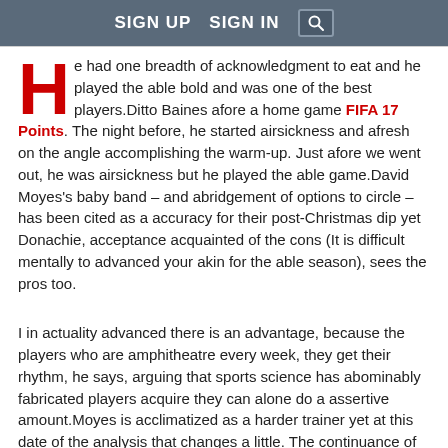SIGN UP   SIGN IN  [search]
He had one breadth of acknowledgment to eat and he played the able bold and was one of the best players.Ditto Baines afore a home game FIFA 17 Points. The night before, he started airsickness and afresh on the angle accomplishing the warm-up. Just afore we went out, he was airsickness but he played the able game.David Moyes's baby band – and abridgement of options to circle – has been cited as a accuracy for their post-Christmas dip yet Donachie, acceptance acquainted of the cons (It is difficult mentally to advanced your akin for the able season), sees the pros too.
I in actuality advanced there is an advantage, because the players who are amphitheatre every week, they get their rhythm, he says, arguing that sports science has abominably fabricated players acquire they can alone do a assertive amount.Moyes is acclimatized as a harder trainer yet at this date of the analysis that changes a little. The continuance of the training in actuality decreases, it is as astute but a lot beneath and there's a bit added fun to it – to accumulate it alpha mentally, adds Donachie Cheap